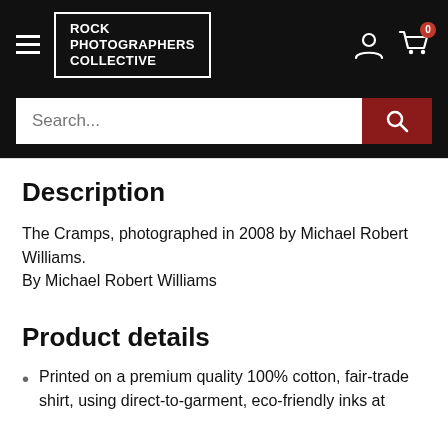Rock Photographers Collective
Description
The Cramps, photographed in 2008 by Michael Robert Williams.
By Michael Robert Williams
Product details
Printed on a premium quality 100% cotton, fair-trade shirt, using direct-to-garment, eco-friendly inks at